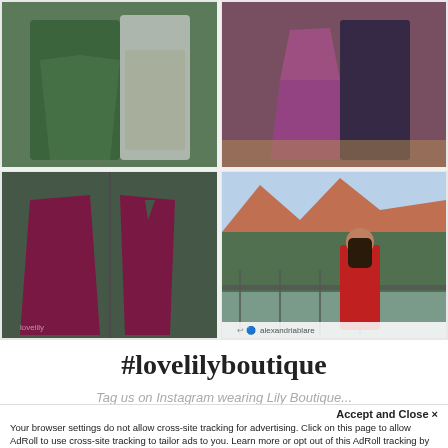[Figure (photo): Four Instagram-style photos of women wearing dresses from Lily Boutique. Top-left: woman in green dress with man in white shirt. Top-right: woman in purple/magenta sequin dress with man in dark suit. Bottom-left: split view of woman in dark red/maroon long dress, front and back views. Bottom-right: woman in red lace midi dress standing on a balcony with scenic red rock landscape (Sedona) in background. Instagram credit: alexandriablare.]
#lovelilyboutique
Tag us on Instagram wearing Lily Boutique...
Accept and Close ×
Your browser settings do not allow cross-site tracking for advertising. Click on this page to allow AdRoll to use cross-site tracking to tailor ads to you. Learn more or opt out of this AdRoll tracking by clicking here. This message only appears once.